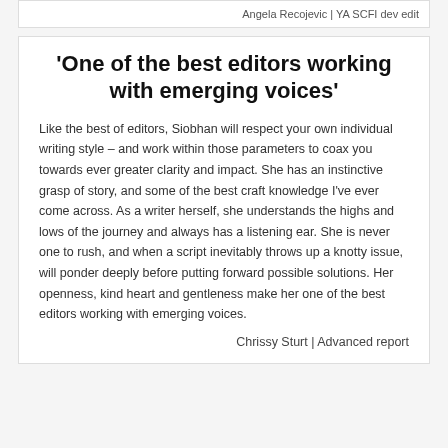Angela Recojevic | YA SCFI dev edit
'One of the best editors working with emerging voices'
Like the best of editors, Siobhan will respect your own individual writing style – and work within those parameters to coax you towards ever greater clarity and impact. She has an instinctive grasp of story, and some of the best craft knowledge I've ever come across. As a writer herself, she understands the highs and lows of the journey and always has a listening ear. She is never one to rush, and when a script inevitably throws up a knotty issue, will ponder deeply before putting forward possible solutions. Her openness, kind heart and gentleness make her one of the best editors working with emerging voices.
Chrissy Sturt | Advanced report